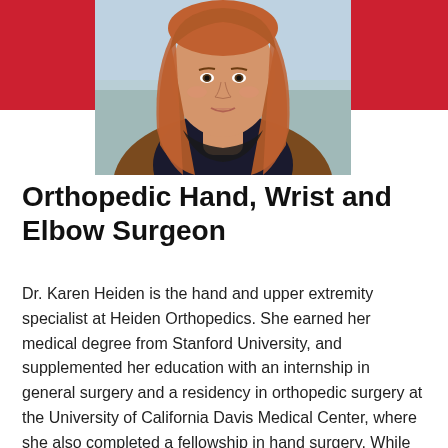[Figure (photo): Portrait photo of Dr. Karen Heiden, a woman with long reddish-brown hair, wearing a dark top and brown jacket, against an outdoor blurred background. Red decorative background visible on left and right sides of the photo.]
Orthopedic Hand, Wrist and Elbow Surgeon
Dr. Karen Heiden is the hand and upper extremity specialist at Heiden Orthopedics. She earned her medical degree from Stanford University, and supplemented her education with an internship in general surgery and a residency in orthopedic surgery at the University of California Davis Medical Center, where she also completed a fellowship in hand surgery. While in Sacramento, she practiced as a hand surgeon and assistant professor of orthopedic surgery at U.C. Davis.